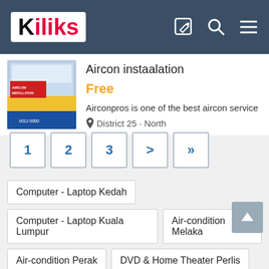[Figure (logo): Kiliks logo — white background box with bold black K and red 'iliks' text, on a dark teal header with edit, search, and menu icons]
[Figure (photo): Aircon installation advertisement image — blue and yellow promotional banner]
Aircon instaalation
Free
Airconpros is one of the best aircon service
District 25 · North
1
2
3
>
»
Computer - Laptop Kedah
Computer - Laptop Kuala Lumpur
Air-condition Melaka
Air-condition Perak
DVD & Home Theater Perlis
Fridge Selangor
Air-condition Central